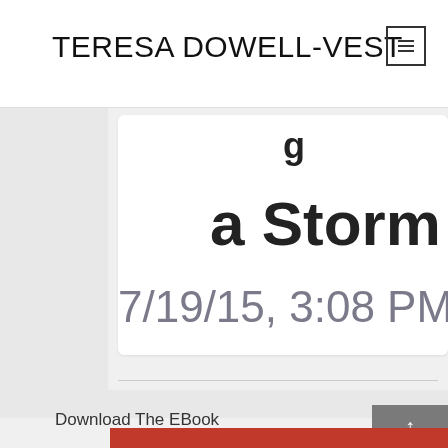TERESA DOWELL-VEST
a Storm movi…
7/19/15, 3:08 PM
Download The EBook